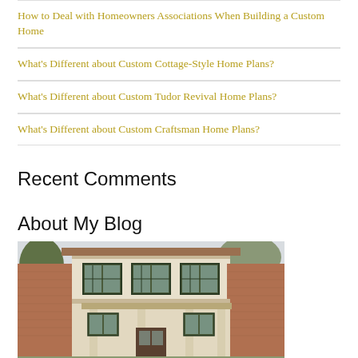How to Deal with Homeowners Associations When Building a Custom Home
What's Different about Custom Cottage-Style Home Plans?
What's Different about Custom Tudor Revival Home Plans?
What's Different about Custom Craftsman Home Plans?
Recent Comments
About My Blog
[Figure (photo): Exterior photo of a two-story custom home with brick and stucco facade, green window trim, and a covered front entry, surrounded by trees]